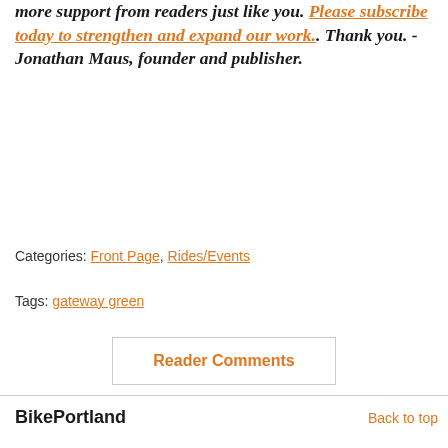more support from readers just like you. Please subscribe today to strengthen and expand our work.. Thank you. - Jonathan Maus, founder and publisher.
Categories: Front Page, Rides/Events
Tags: gateway green
Reader Comments
BikePortland
Back to top